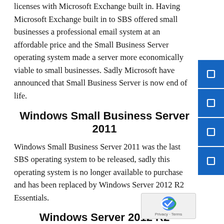licenses with Microsoft Exchange built in. Having Microsoft Exchange built in to SBS offered small businesses a professional email system at an affordable price and the Small Business Server operating system made a server more economically viable to small businesses. Sadly Microsoft have announced that Small Business Server is now end of life.
Windows Small Business Server 2011
Windows Small Business Server 2011 was the last SBS operating system to be released, sadly this operating system is no longer available to purchase and has been replaced by Windows Server 2012 R2 Essentials.
Windows Server 2012 R2 Essentials
Whilst Windows Server 2012 R2 Essentials has its similarities to SBS 2011, Windows Server 2012 R2 Essentials does not include or support Microsoft Exchange.